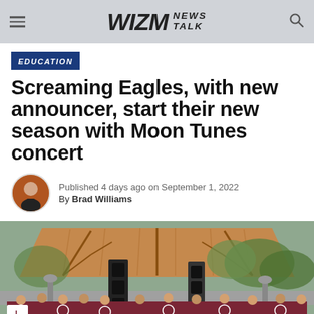WIZM NEWS TALK
EDUCATION
Screaming Eagles, with new announcer, start their new season with Moon Tunes concert
Published 4 days ago on September 1, 2022
By Brad Williams
[Figure (photo): A large marching band in maroon shirts performing under a wooden pavilion outdoors, with speaker towers and trees in the background.]